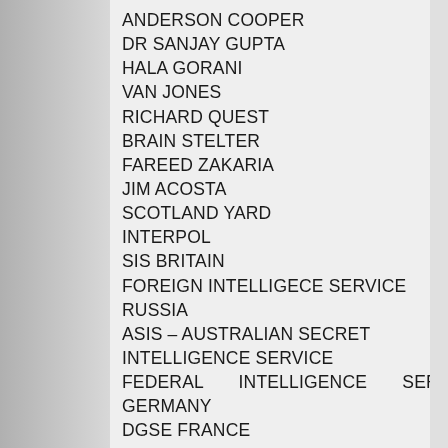ANDERSON COOPER
DR SANJAY GUPTA
HALA GORANI
VAN JONES
RICHARD QUEST
BRAIN STELTER
FAREED ZAKARIA
JIM ACOSTA
SCOTLAND YARD
INTERPOL
SIS BRITAIN
FOREIGN INTELLIGECE SERVICE RUSSIA
ASIS – AUSTRALIAN SECRET INTELLIGENCE SERVICE
FEDERAL INTELLIGENCE SERVICE GERMANY
DGSE FRANCE
CIA
FBI
MOSSAD
MI-6
AMBASSADORS TO FROM NATIONS OF